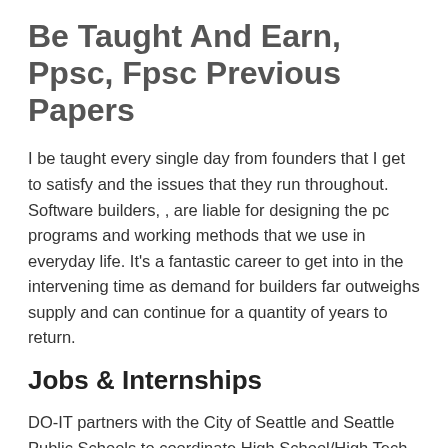Be Taught And Earn, Ppsc, Fpsc Previous Papers
I be taught every single day from founders that I get to satisfy and the issues that they run throughout. Software builders, , are liable for designing the pc programs and working methods that we use in everyday life. It's a fantastic career to get into in the intervening time as demand for builders far outweighs supply and can continue for a quantity of years to return.
Jobs & Internships
DO-IT partners with the City of Seattle and Seattle Public Schools to coordinate High School/High Tech activities in Western Washington. High School/High Tech is a community-based partnership of fogeys, educators, rehabilitation professionals, and business representatives. The partnership combines website tours, job shadowing, internships, and mentoring to encourage students with disabilities to pursue careers within the technology trade. To study more about High